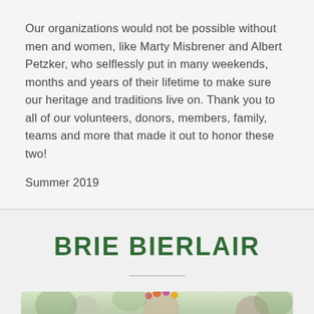Our organizations would not be possible without men and women, like Marty Misbrener and Albert Petzker, who selflessly put in many weekends, months and years of their lifetime to make sure our heritage and traditions live on. Thank you to all of our volunteers, donors, members, family, teams and more that made it out to honor these two!
Summer 2019
BRIE BIERLAIR
[Figure (photo): A woman wearing a flower crown, photographed outdoors with trees in the background. Another person is partially visible on the right side.]